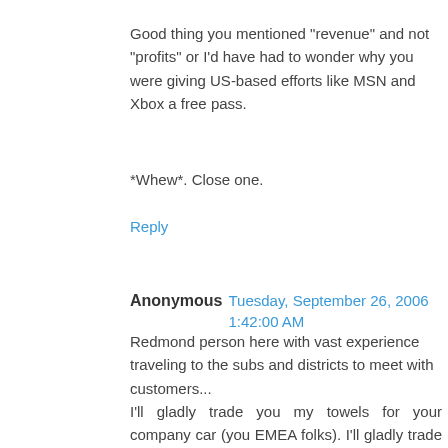Good thing you mentioned "revenue" and not "profits" or I'd have had to wonder why you were giving US-based efforts like MSN and Xbox a free pass.
*Whew*. Close one.
Reply
Anonymous  Tuesday, September 26, 2006 1:42:00 AM
Redmond person here with vast experience traveling to the subs and districts to meet with customers...
I'll gladly trade you my towels for your company car (you EMEA folks). I'll gladly trade my Acapulco Fresh overpriced food for the TVP fare served on real dinnerware. I'll gladly give you my free Talking Rain for the Ribeena Black Current juice boxes from London city office. I'll trade my shared window office for a cube in Neuss where I can see the turtles and koi in the lobby atrium. And you can have my poor parking spot in trade for that gorgeous view of the Bosphorus from the Istanbul MENA HQ.